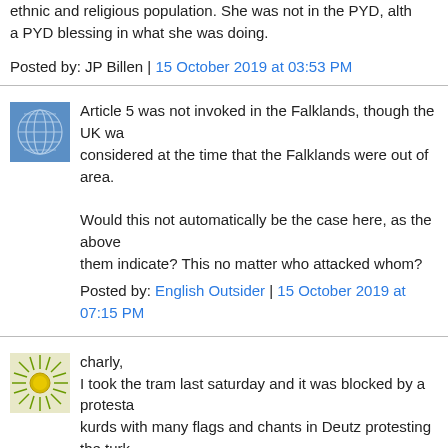ethnic and religious population. She was not in the PYD, alth a PYD blessing in what she was doing.
Posted by: JP Billen | 15 October 2019 at 03:53 PM
[Figure (illustration): Blue globe/network avatar icon]
Article 5 was not invoked in the Falklands, though the UK wa considered at the time that the Falklands were out of area.

Would this not automatically be the case here, as the above them indicate? This no matter who attacked whom?
Posted by: English Outsider | 15 October 2019 at 07:15 PM
[Figure (illustration): Green sunburst/dandelion avatar icon]
charly,
I took the tram last saturday and it was blocked by a protesta kurds with many flags and chants in Deutz protesting the turk invasion/ confusion/ putatively preventive overdefence/ anti-S kurdish) operation in Syria.

https://en.wikipedia.org/wiki/Treaty_of_S%C3%A8vres
(interesting map there)

In some protestations the last days turkish kiosks and shops